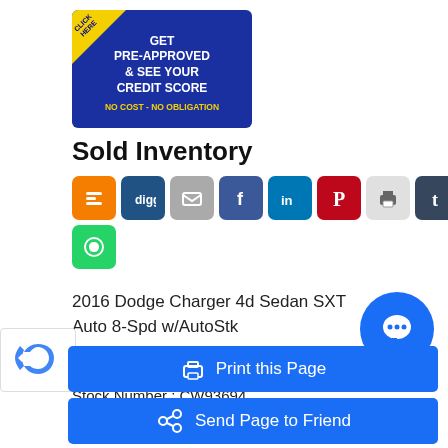[Figure (infographic): Dark blue banner ad with yellow corner triangle labeled CLICK HERE. Text: GET PRE-APPROVED & SEE YOUR CREDIT SCORE. NO COST - NO OBLIGATION]
Sold Inventory
[Figure (infographic): Row of social media share buttons: Blogger (orange), Digg (dark blue), Email (gray), Facebook (dark blue), LinkedIn (blue), Pinterest (red), Print (gray), Tumblr (dark gray), Twitter (light blue). Second row: WhatsApp (green).]
2016 Dodge Charger 4d Sedan SXT Auto 8-Spd w/AutoStk
Miles : 97807
Stock Number : CW93694
Print this Page
Send Page to Friend